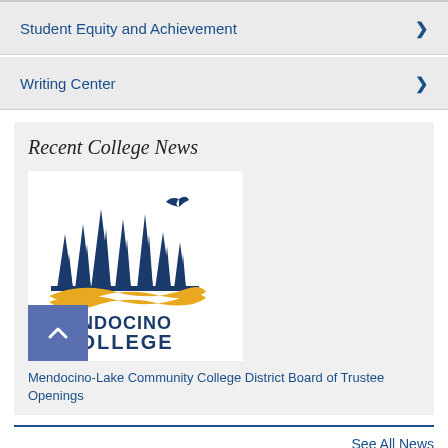Student Equity and Achievement
Writing Center
Recent College News
[Figure (logo): Mendocino College logo with pine trees silhouette and golden wave, text reads MENDOCINO COLLEGE]
Mendocino-Lake Community College District Board of Trustee Openings
See All News